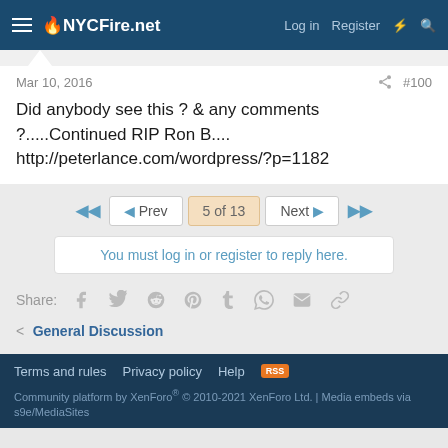NYCFire.net — Log in   Register
Mar 10, 2016   #100
Did anybody see this ? & any comments ?.....Continued RIP Ron B....      http://peterlance.com/wordpress/?p=1182
5 of 13  Prev  Next
You must log in or register to reply here.
Share:
General Discussion
Terms and rules   Privacy policy   Help   Community platform by XenForo® © 2010-2021 XenForo Ltd. | Media embeds via s9e/MediaSites